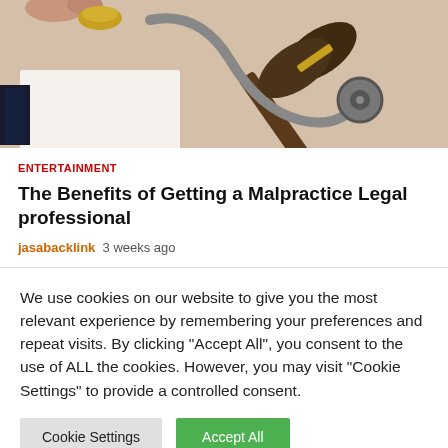[Figure (photo): Close-up photo of a judge's gavel and a stethoscope on a desk, symbolizing medical malpractice law]
ENTERTAINMENT
The Benefits of Getting a Malpractice Legal professional
jasabacklink  3 weeks ago
We use cookies on our website to give you the most relevant experience by remembering your preferences and repeat visits. By clicking "Accept All", you consent to the use of ALL the cookies. However, you may visit "Cookie Settings" to provide a controlled consent.
Cookie Settings  Accept All